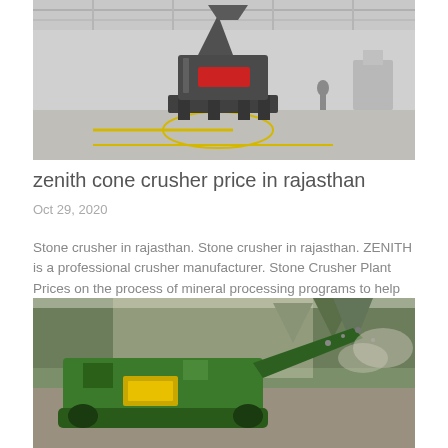[Figure (photo): Indoor factory/warehouse photo showing a large gray cone crusher machine on a factory floor with industrial lighting overhead and yellow lane markings on floor]
zenith cone crusher price in rajasthan
Oct 29, 2020
Stone crusher in rajasthan. Stone crusher in rajasthan. ZENITH is a professional crusher manufacturer. Stone Crusher Plant Prices on the process of mineral processing programs to help the use in many places, stone calcium carbonate silica sand silicate, india America India quarry mining crusher plants low price
[Figure (photo): Outdoor photo of a large green mobile crushing machine working on a gravel/stone site with forest in background and dust in the air]